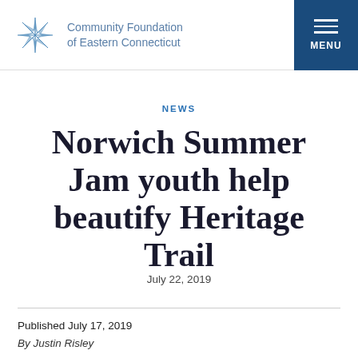Community Foundation of Eastern Connecticut | MENU
NEWS
Norwich Summer Jam youth help beautify Heritage Trail
July 22, 2019
Published July 17, 2019
By Justin Risley